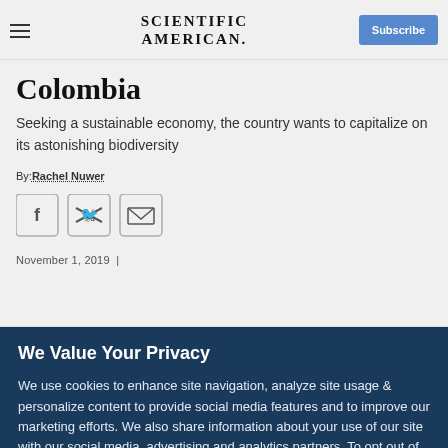Scientific American — Subscribe
Colombia
Seeking a sustainable economy, the country wants to capitalize on its astonishing biodiversity
By: Rachel Nuwer
[Figure (other): Social share icons: Facebook, Twitter, Email]
November 1, 2019  |
We Value Your Privacy
We use cookies to enhance site navigation, analyze site usage & personalize content to provide social media features and to improve our marketing efforts. We also share information about your use of our site with our social media, advertising and analytics partners. To opt out of website cookies or otherwise manage your cookie settings, click on Cookie Settings. View O...